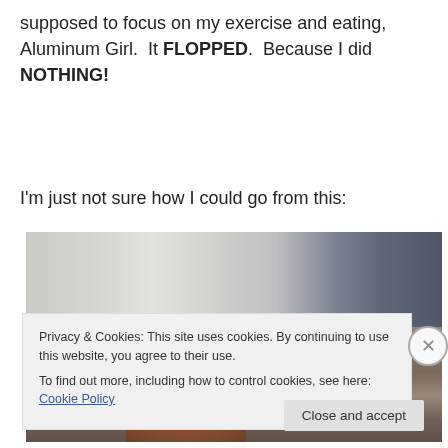supposed to focus on my exercise and eating, Aluminum Girl.  It FLOPPED.  Because I did NOTHING!
I'm just not sure how I could go from this:
[Figure (photo): Person lying behind a sofa/couch with curtains in the background]
Privacy & Cookies: This site uses cookies. By continuing to use this website, you agree to their use.
To find out more, including how to control cookies, see here: Cookie Policy
Close and accept